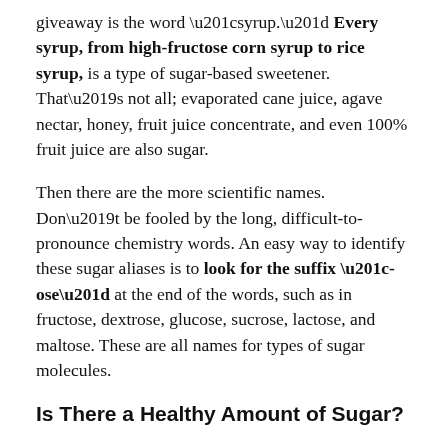giveaway is the word “syrup.” Every syrup, from high-fructose corn syrup to rice syrup, is a type of sugar-based sweetener. That’s not all; evaporated cane juice, agave nectar, honey, fruit juice concentrate, and even 100% fruit juice are also sugar.
Then there are the more scientific names. Don’t be fooled by the long, difficult-to-pronounce chemistry words. An easy way to identify these sugar aliases is to look for the suffix “-ose” at the end of the words, such as in fructose, dextrose, glucose, sucrose, lactose, and maltose. These are all names for types of sugar molecules.
Is There a Healthy Amount of Sugar?
Ideally, we’d all be able to avoid sugar entirely, but with it hiding in so many of the foods we buy, that can be a very difficult goal to achieve. If it isn’t possible to cut sugar out altogether, then we